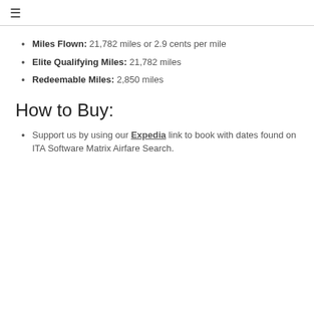☰
Miles Flown: 21,782 miles or 2.9 cents per mile
Elite Qualifying Miles: 21,782 miles
Redeemable Miles: 2,850 miles
How to Buy:
Support us by using our Expedia link to book with dates found on ITA Software Matrix Airfare Search.